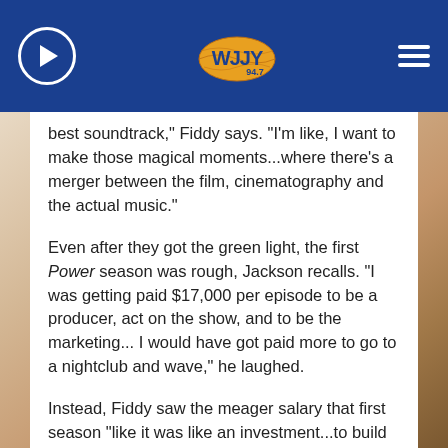WJJY radio station header with play button, logo, and hamburger menu
best soundtrack," Fiddy says. "I'm like, I want to make those magical moments...where there's a merger between the film, cinematography and the actual music."
Even after they got the green light, the first Power season was rough, Jackson recalls. "I was getting paid $17,000 per episode to be a producer, act on the show, and to be the marketing... I would have got paid more to go to a nightclub and wave," he laughed.
Instead, Fiddy saw the meager salary that first season "like it was like an investment...to build what I want to build."